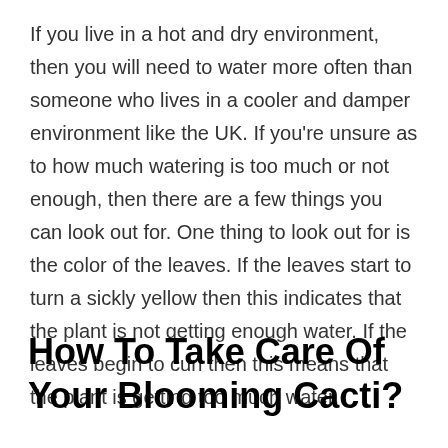If you live in a hot and dry environment, then you will need to water more often than someone who lives in a cooler and damper environment like the UK. If you're unsure as to how much watering is too much or not enough, then there are a few things you can look out for. One thing to look out for is the color of the leaves. If the leaves start to turn a sickly yellow then this indicates that the plant is not getting enough water. If the leaves begin to curl then this means that the plant is getting too much water.
How To Take Care Of Your Blooming Cacti?